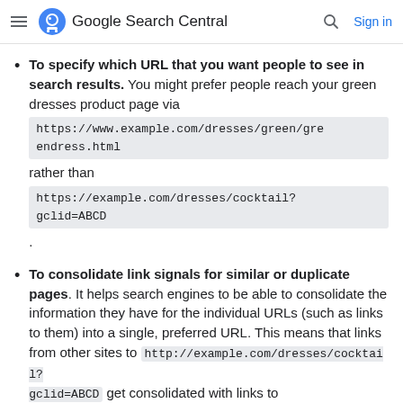Google Search Central — Sign in
To specify which URL that you want people to see in search results. You might prefer people reach your green dresses product page via https://www.example.com/dresses/green/greendress.html rather than https://example.com/dresses/cocktail?gclid=ABCD.
To consolidate link signals for similar or duplicate pages. It helps search engines to be able to consolidate the information they have for the individual URLs (such as links to them) into a single, preferred URL. This means that links from other sites to http://example.com/dresses/cocktail?gclid=ABCD get consolidated with links to https://www.example.com/dresses/green/greendress.html.